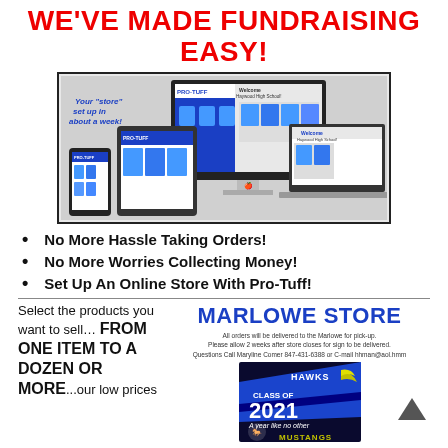WE'VE MADE FUNDRAISING EASY!
[Figure (screenshot): Screenshot of Pro-Tuff online store shown on desktop monitor, tablet, and phone devices. Shows the Haywood High School store with blue spirit wear items like shirts and hoodies.]
No More Hassle Taking Orders!
No More Worries Collecting Money!
Set Up An Online Store With Pro-Tuff!
Select the products you want to sell… FROM ONE ITEM TO A DOZEN OR MORE...our low prices
MARLOWE STORE
All orders will be delivered to the Marlowe for pick-up. Please allow 2 weeks after store closes for sign-to be delivered. Questions Call Maryline Comer 847-431-6388 or C-mail hhman@aol.hmm
[Figure (photo): Class of 2021 yard sign with stakes. Blue diagonal design with HAWKS text, Class of 2021, 'A year like no other' script, and MUSTANGS logo. Price shown below.]
Class of 2021 Yard Sign with Stake
$10 USD